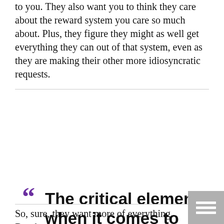to you. They also want you to think they care about the reward system you care so much about. Plus, they figure they might as well get everything they can out of that system, even as they are making their other more idiosyncratic requests.
The critical element when it comes to rewarding Millennials is letting them know that rewards are tied to concrete actions within their own direct control.
So, sure, they want more of everything. But the re...